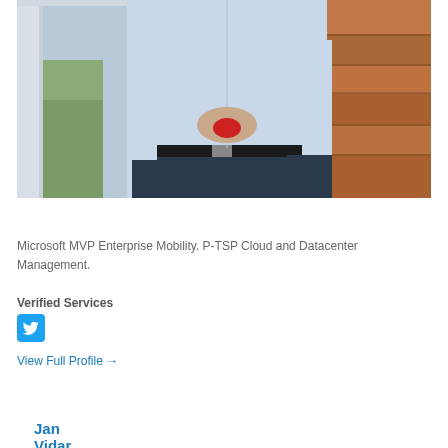[Figure (photo): Person wearing a light blue shirt and dark jeans, holding a small red object, standing in front of a window and wooden wall background. Only the torso and lower body are visible.]
Jan Vidar Elven
Microsoft MVP Enterprise Mobility. P-TSP Cloud and Datacenter Management.
Verified Services
[Figure (logo): Twitter bird logo icon in blue]
View Full Profile →